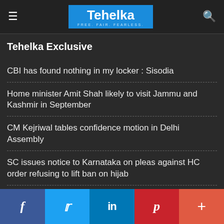Tehelka — FREE. FAIR. FEARLESS.
Tehelka Exclusive
CBI has found nothing in my locker : Sisodia
Home minister Amit Shah likely to visit Jammu and Kashmir in September
CM Kejriwal tables confidence motion in Delhi Assembly
SC issues notice to Karnataka on pleas against HC order refusing to lift ban on hijab
Former Rajya Sabha member M A Khan quits Congress
f  t  in  P  +